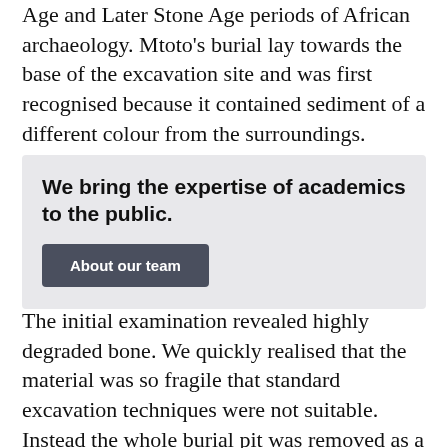Age and Later Stone Age periods of African archaeology. Mtoto's burial lay towards the base of the excavation site and was first recognised because it contained sediment of a different colour from the surroundings.
We bring the expertise of academics to the public.
About our team
The initial examination revealed highly degraded bone. We quickly realised that the material was so fragile that standard excavation techniques were not suitable. Instead the whole burial pit was removed as a single block of sediment and sent to the National Research Centre on Human Evolution (CENIEH) in Burgos, Spain.